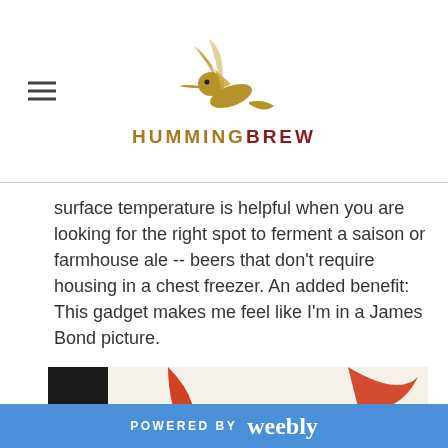HUMMINGBREW
surface temperature is helpful when you are looking for the right spot to ferment a saison or farmhouse ale -- beers that don't require housing in a chest freezer. An added benefit: This gadget makes me feel like I'm in a James Bond picture.
[Figure (photo): A black infrared thermometer gun (BonJour brand) with a red trigger, placed on a colorful patterned background with red, yellow, green and black swirls and checkerboard patterns.]
POWERED BY weebly